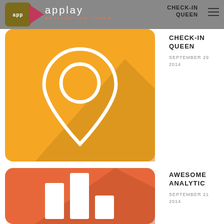applay APPLICATION THEME | CHECK-IN QUEEN
[Figure (illustration): App icon with yellow/gold rounded square background featuring a white location pin marker with shadow, representing a check-in app]
CHECK-IN QUEEN
SEPTEMBER 29
2014
[Figure (illustration): App icon with orange/red rounded square background featuring white bar chart bars with shadow, representing an analytics app]
AWESOME ANALYTIC
SEPTEMBER 21
2014